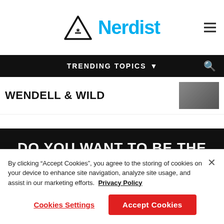Nerdist
TRENDING TOPICS
WENDELL & WILD
DO YOU WANT TO BE THE FIRST
By clicking “Accept Cookies”, you agree to the storing of cookies on your device to enhance site navigation, analyze site usage, and assist in our marketing efforts. Privacy Policy
Cookies Settings
Accept Cookies